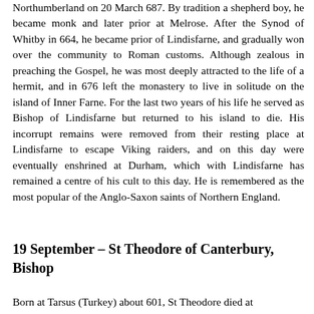Northumberland on 20 March 687. By tradition a shepherd boy, he became monk and later prior at Melrose. After the Synod of Whitby in 664, he became prior of Lindisfarne, and gradually won over the community to Roman customs. Although zealous in preaching the Gospel, he was most deeply attracted to the life of a hermit, and in 676 left the monastery to live in solitude on the island of Inner Farne. For the last two years of his life he served as Bishop of Lindisfarne but returned to his island to die. His incorrupt remains were removed from their resting place at Lindisfarne to escape Viking raiders, and on this day were eventually enshrined at Durham, which with Lindisfarne has remained a centre of his cult to this day. He is remembered as the most popular of the Anglo-Saxon saints of Northern England.
19 September – St Theodore of Canterbury, Bishop
Born at Tarsus (Turkey) about 601, St Theodore died at